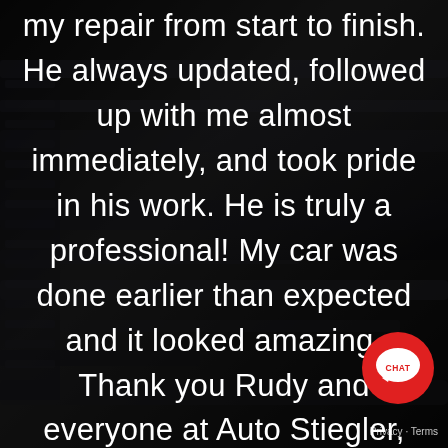[Figure (photo): Dark background photo of car engine/interior parts with dark overlay, showing automotive components]
my repair from start to finish. He always updated, followed up with me almost immediately, and took pride in his work. He is truly a professional! My car was done earlier than expected and it looked amazing. Thank you Rudy and everyone at Auto Stiegler, you guys are the best!!